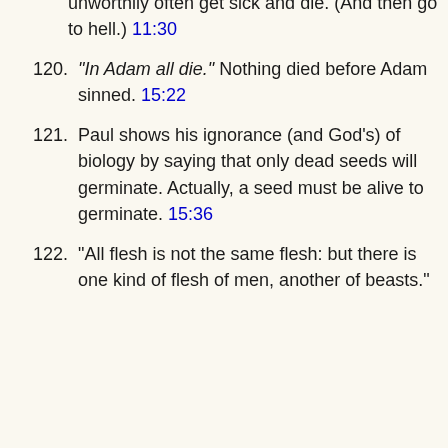unworthily often get sick and die. (And then go to hell.) 11:30
120. "In Adam all die." Nothing died before Adam sinned. 15:22
121. Paul shows his ignorance (and God's) of biology by saying that only dead seeds will germinate. Actually, a seed must be alive to germinate. 15:36
122. "All flesh is not the same flesh: but there is one kind of flesh of men, another of beasts."